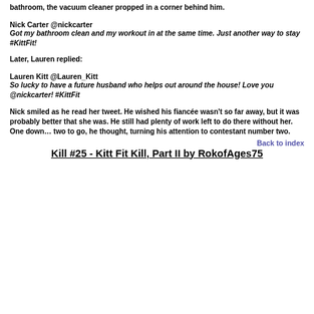bathroom, the vacuum cleaner propped in a corner behind him.
Nick Carter @nickcarter
Got my bathroom clean and my workout in at the same time. Just another way to stay #KittFit!
Later, Lauren replied:
Lauren Kitt @Lauren_Kitt
So lucky to have a future husband who helps out around the house! Love you @nickcarter! #KittFit
Nick smiled as he read her tweet. He wished his fiancée wasn't so far away, but it was probably better that she was. He still had plenty of work left to do there without her. One down… two to go, he thought, turning his attention to contestant number two.
Back to index
Kill #25 - Kitt Fit Kill, Part II by RokofAges75